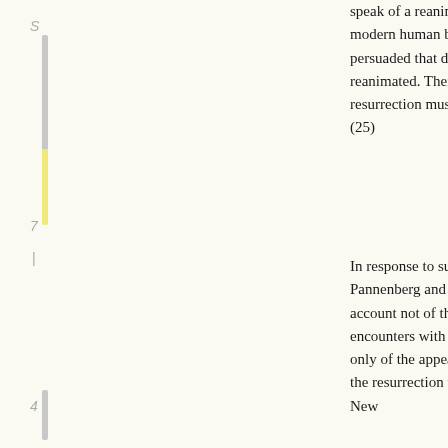speak of a reanimation of the dead Jesus, modern human beings simply will not be persuaded that dead persons can be reanimated. Therefore the reality of the resurrection must be called into question. (25)
In response to such reasoning, Wolfhart Pannenberg and others proposed that we take account not of the reports of personal encounters with the risen Jesus per se, but only of the appearances of light attested in the resurrection witnesses preserved in the New